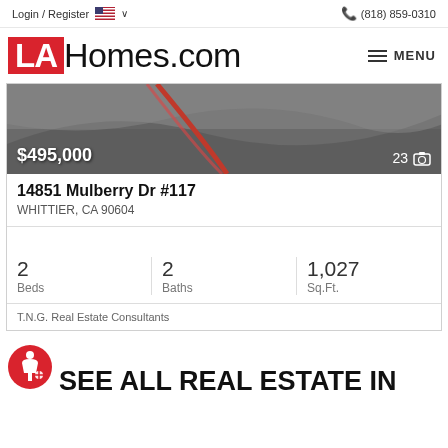Login / Register  🇺🇸 ∨    (818) 859-0310
[Figure (logo): LAHomes.com logo with red LA box and MENU hamburger button]
[Figure (photo): Property listing photo showing overhead/aerial view of a driveway or road, with price overlay $495,000 and photo count 23]
14851 Mulberry Dr #117
WHITTIER, CA 90604
2 Beds  2 Baths  1,027 Sq.Ft.
T.N.G. Real Estate Consultants
SEE ALL REAL ESTATE IN